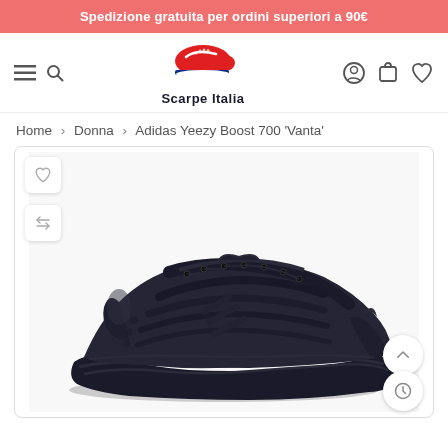Spedizione gratuita per ordini superiori a 90€
[Figure (logo): Scarpe Italia logo with red sneaker and blue underline]
Home › Donna › Adidas Yeezy Boost 700 'Vanta'
[Figure (photo): Adidas Yeezy Boost 700 'Vanta' sneaker in all-black colorway, side profile view on white background]